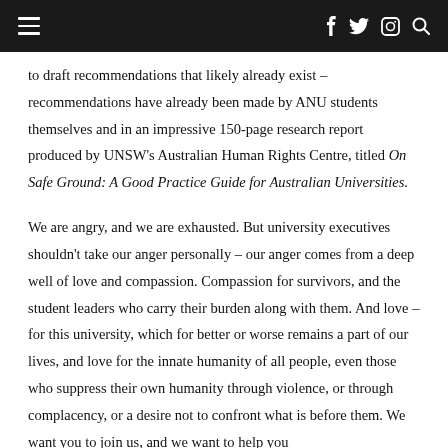Navigation bar with hamburger menu and social icons (f, twitter, instagram, search)
to draft recommendations that likely already exist – recommendations have already been made by ANU students themselves and in an impressive 150-page research report produced by UNSW's Australian Human Rights Centre, titled On Safe Ground: A Good Practice Guide for Australian Universities.
We are angry, and we are exhausted. But university executives shouldn't take our anger personally – our anger comes from a deep well of love and compassion. Compassion for survivors, and the student leaders who carry their burden along with them. And love – for this university, which for better or worse remains a part of our lives, and love for the innate humanity of all people, even those who suppress their own humanity through violence, or through complacency, or a desire not to confront what is before them. We want you to join us, and we want to help you